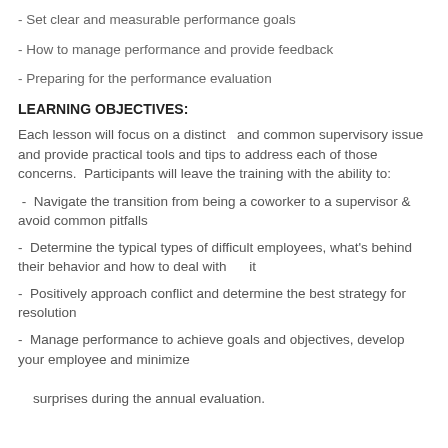- Set clear and measurable performance goals
- How to manage performance and provide feedback
- Preparing for the performance evaluation
LEARNING OBJECTIVES:
Each lesson will focus on a distinct  and common supervisory issue and provide practical tools and tips to address each of those concerns.  Participants will leave the training with the ability to:
-  Navigate the transition from being a coworker to a supervisor & avoid common pitfalls
-  Determine the typical types of difficult employees, what's behind their behavior and how to deal with      it
-  Positively approach conflict and determine the best strategy for resolution
-  Manage performance to achieve goals and objectives, develop your employee and minimize
    surprises during the annual evaluation.